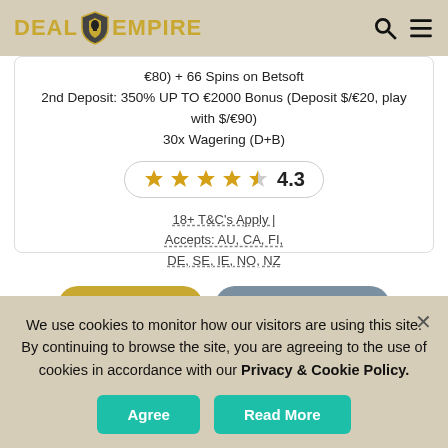DEAL EMPIRE
€80) + 66 Spins on Betsoft
2nd Deposit: 350% UP TO €2000 Bonus (Deposit $/€20, play with $/€90)
30x Wagering (D+B)
[Figure (other): 4.3 star rating pill with 4 gold stars and 1 half star]
18+ T&C's Apply | Accepts: AU, CA, FI, DE, SE, IE, NO, NZ
Claim Deal
Casino Review
We use cookies to monitor how our visitors are using this site. By continuing to browse the site, you are agreeing to the use of cookies in accordance with our Privacy & Cookie Policy.
Agree
Read More